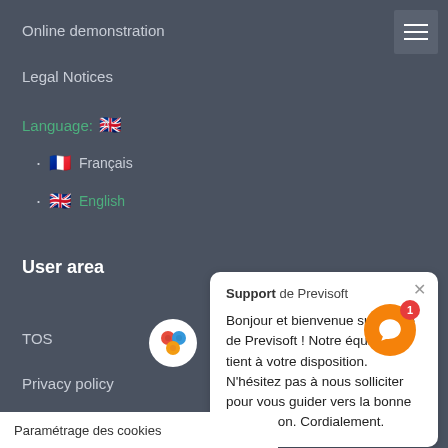Online demonstration
Legal Notices
Language: 🇬🇧
🇫🇷 Français
🇬🇧 English
User area
TOS
Privacy policy
User data management
Ethics Charter
[Figure (screenshot): Chat support popup showing greeting message from Previsoft support in French, and a reply input field]
Paramétrage des cookies